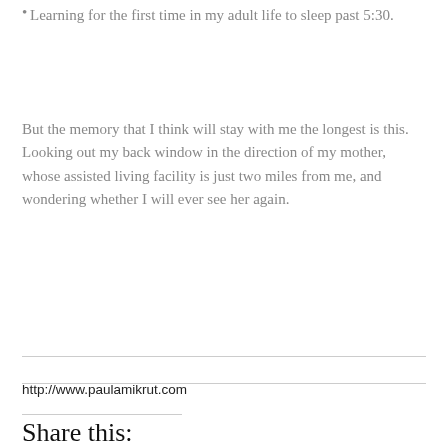Learning for the first time in my adult life to sleep past 5:30.
But the memory that I think will stay with me the longest is this. Looking out my back window in the direction of my mother, whose assisted living facility is just two miles from me, and wondering whether I will ever see her again.
http://www.paulamikrut.com
Share this:
Facebook   Twitter